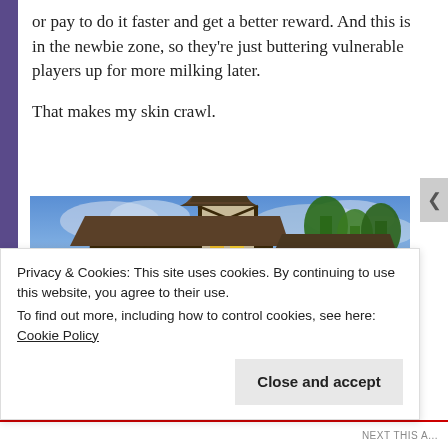or pay to do it faster and get a better reward. And this is in the newbie zone, so they're just buttering vulnerable players up for more milking later.
That makes my skin crawl.
[Figure (screenshot): Screenshot from a fantasy MMO game showing medieval-style buildings with timber framing, glowing yellow windows, and a blue cloudy sky in the background.]
Privacy & Cookies: This site uses cookies. By continuing to use this website, you agree to their use.
To find out more, including how to control cookies, see here: Cookie Policy
Close and accept